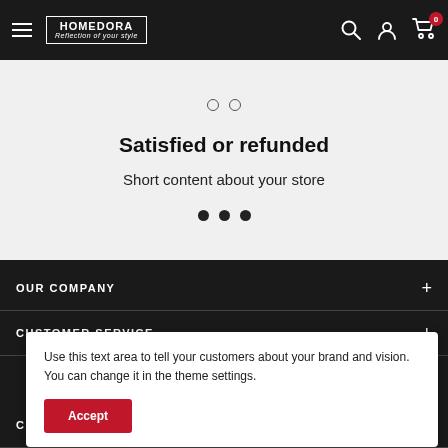HOMEDORA — Reflection of your style
Satisfied or refunded
Short content about your store
OUR COMPANY
CUSTOMER SERVICE
Use this text area to tell your customers about your brand and vision. You can change it in the theme settings.
Accept
CONTACT US